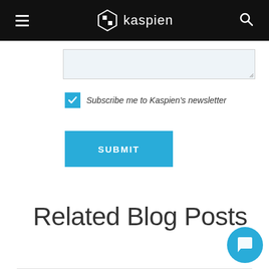kaspien
[Figure (screenshot): Textarea input field with light blue background and resize handle]
Subscribe me to Kaspien's newsletter
[Figure (screenshot): SUBMIT button in teal/cyan blue color]
Related Blog Posts